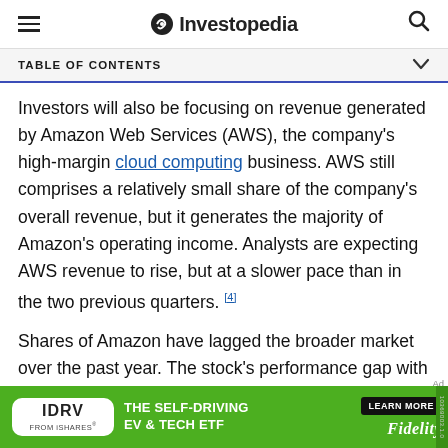Investopedia
TABLE OF CONTENTS
Investors will also be focusing on revenue generated by Amazon Web Services (AWS), the company's high-margin cloud computing business. AWS still comprises a relatively small share of the company's overall revenue, but it generates the majority of Amazon's operating income. Analysts are expecting AWS revenue to rise, but at a slower pace than in the two previous quarters. [4]
Shares of Amazon have lagged the broader market over the past year. The stock's performance gap with
[Figure (other): IDRV From iShares advertisement banner. Green background with IDRV logo on white rounded rectangle, text 'THE SELF-DRIVING EV & TECH ETF', 'LEARN MORE' button, and Fidelity logo.]